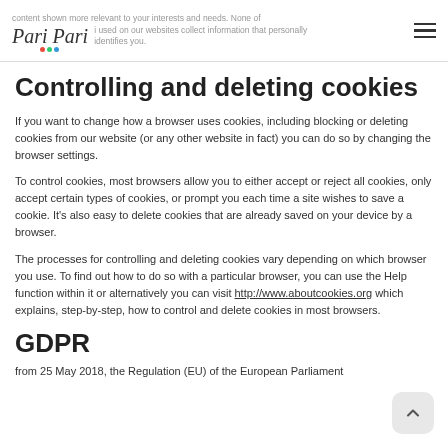content shown more relevant to your interests and needs. None of the cookies used on our websites collect information that personally identifies you.
Controlling and deleting cookies
If you want to change how a browser uses cookies, including blocking or deleting cookies from our website (or any other website in fact) you can do so by changing the browser settings.
To control cookies, most browsers allow you to either accept or reject all cookies, only accept certain types of cookies, or prompt you each time a site wishes to save a cookie. It's also easy to delete cookies that are already saved on your device by a browser.
The processes for controlling and deleting cookies vary depending on which browser you use. To find out how to do so with a particular browser, you can use the Help function within it or alternatively you can visit http://www.aboutcookies.org which explains, step-by-step, how to control and delete cookies in most browsers.
GDPR
from 25 May 2018, the Regulation (EU) of the European Parliament